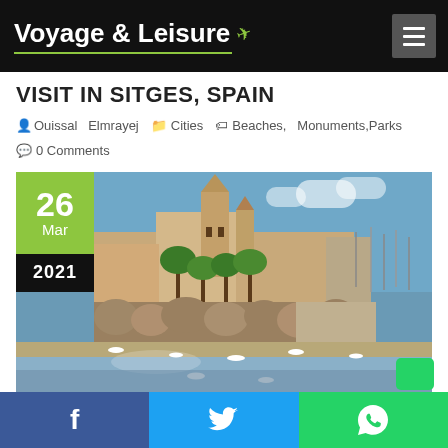Voyage & Leisure
VISIT IN SITGES, SPAIN
Ouissal Elmrayej   Cities   Beaches, Monuments, Parks   0 Comments
[Figure (photo): Coastal view of Sitges, Spain with church tower, palm trees, rocky waterfront and seagulls at water's edge. Date overlay shows 26 Mar 2021.]